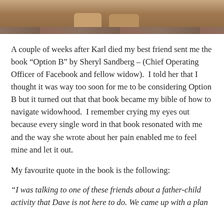[Figure (photo): Bottom portion of a photo showing two pairs of sandals/shoes on wooden planks or decking, with a warm earthy background]
A couple of weeks after Karl died my best friend sent me the book “Option B” by Sheryl Sandberg – (Chief Operating Officer of Facebook and fellow widow).  I told her that I thought it was way too soon for me to be considering Option B but it turned out that that book became my bible of how to navigate widowhood.  I remember crying my eyes out because every single word in that book resonated with me and the way she wrote about her pain enabled me to feel mine and let it out.
My favourite quote in the book is the following:
“I was talking to one of these friends about a father-child activity that Dave is not here to do. We came up with a plan